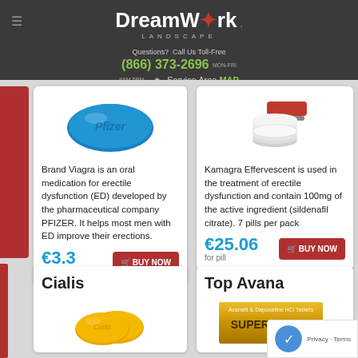DreamWork Landscape — Questions? Call Us Toll-Free (866) 373-2696 MON-FRI 8AM-5PM — Service Area MAP
[Figure (photo): Blue oval Pfizer-branded Viagra pill]
Brand Viagra is an oral medication for erectile dysfunction (ED) developed by the pharmaceutical company PFIZER. It helps most men with ED improve their erections.
€3.3 for pill
[Figure (photo): Kamagra Effervescent pills and packaging]
Kamagra Effervescent is used in the treatment of erectile dysfunction and contain 100mg of the active ingredient (sildenafil citrate). 7 pills per pack
€25.06 for pill
Cialis
[Figure (photo): Two yellow oval Cialis branded tablets]
Cialis is indicated for the treatment of erectile dysfunction. Cialis works better than other ED...
Top Avana
[Figure (photo): Super-Avana (Avanafil & Dapoxetine HCl Tablets) packaging box with gold design]
Top Avana is a drug which used to treat male erectile dysfunction and...